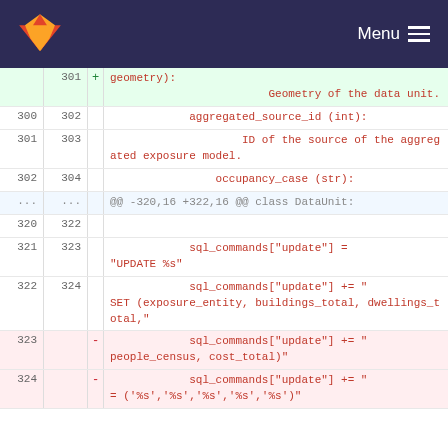GitLab · Menu
[Figure (screenshot): GitLab diff view showing Python code changes. Lines 300-324 of a file, with added lines (green background) and removed lines (red background). Code includes aggregated_source_id, occupancy_case, sql_commands updates.]